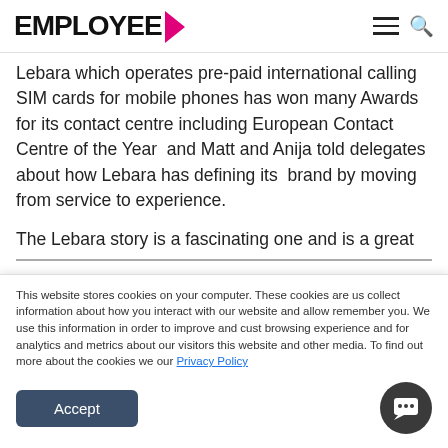EMPLOYEE >
Lebara which operates pre-paid international calling SIM cards for mobile phones has won many Awards for its contact centre including European Contact Centre of the Year  and Matt and Anija told delegates about how Lebara has defining its  brand by moving from service to experience.
The Lebara story is a fascinating one and is a great
This website stores cookies on your computer. These cookies are us collect information about how you interact with our website and allow remember you. We use this information in order to improve and cust browsing experience and for analytics and metrics about our visitors this website and other media. To find out more about the cookies we our Privacy Policy